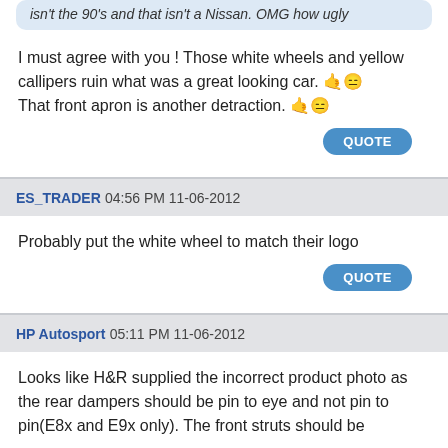isn't the 90's and that isn't a Nissan. OMG how ugly
I must agree with you ! Those white wheels and yellow callipers ruin what was a great looking car. 🤙😑 That front apron is another detraction. 🤙😑
QUOTE
ES_TRADER 04:56 PM 11-06-2012
Probably put the white wheel to match their logo
QUOTE
HP Autosport 05:11 PM 11-06-2012
Looks like H&R supplied the incorrect product photo as the rear dampers should be pin to eye and not pin to pin(E8x and E9x only). The front struts should be